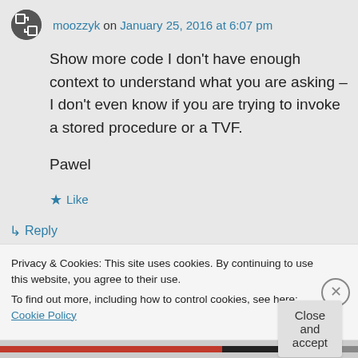moozzyk on January 25, 2016 at 6:07 pm
Show more code I don't have enough context to understand what you are asking – I don't even know if you are trying to invoke a stored procedure or a TVF.

Pawel
★ Like
↪ Reply
Privacy & Cookies: This site uses cookies. By continuing to use this website, you agree to their use.
To find out more, including how to control cookies, see here: Cookie Policy
Close and accept